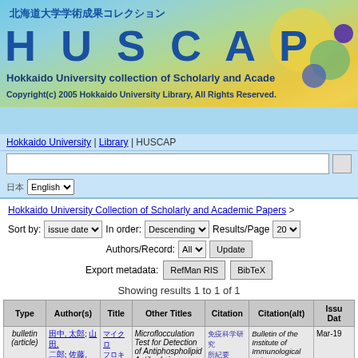[Figure (logo): HUSCAP - Hokkaido University collection of Scholarly and Academic Papers banner with Japanese text, colorful background with botanical illustration]
Hokkaido University | Library | HUSCAP
Hokkaido University Collection of Scholarly and Academic Papers >
Sort by: issue date  In order: Descending  Results/Page 20  Authors/Record: All  Update  Export metadata: RefMan RIS  BibTeX
Showing results 1 to 1 of 1
| Type | Author(s) | Title | Other Titles | Citation | Citation(alt) | Issue Date |
| --- | --- | --- | --- | --- | --- | --- |
| bulletin (article) | links | link | Microflocculation Test for Detection of Antiphospholipid Antibody in Tuberculous | Japanese text | Bulletin of the Institute of Immunological Science, Hokkaido University | Mar-1… |